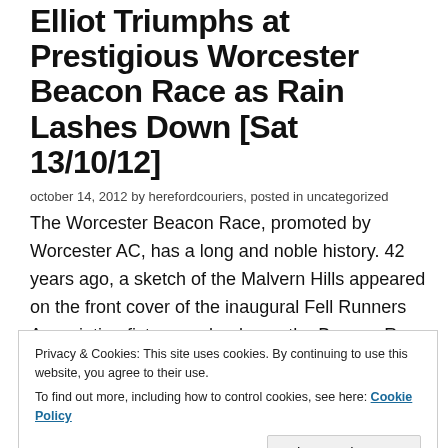Elliot Triumphs at Prestigious Worcester Beacon Race as Rain Lashes Down [Sat 13/10/12]
october 14, 2012 by herefordcouriers, posted in uncategorized
The Worcester Beacon Race, promoted by Worcester AC, has a long and noble history. 42 years ago, a sketch of the Malvern Hills appeared on the front cover of the inaugural Fell Runners Association fixtures calendar as the Beacon Race was among the original events listed. The course has changed over time [it used to start at
Privacy & Cookies: This site uses cookies. By continuing to use this website, you agree to their use.
To find out more, including how to control cookies, see here: Cookie Policy
Close and accept
weather and over the years many runners have doped